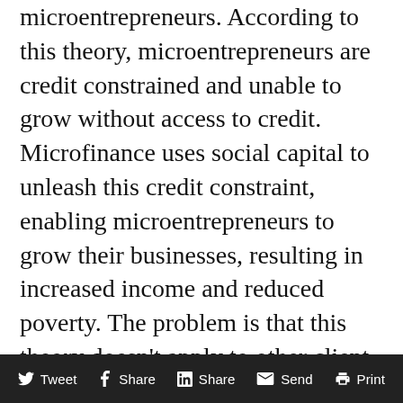microentrepreneurs. According to this theory, microentrepreneurs are credit constrained and unable to grow without access to credit. Microfinance uses social capital to unleash this credit constraint, enabling microentrepreneurs to grow their businesses, resulting in increased income and reduced poverty. The problem is that this theory doesn't apply to other client groups like farmers, day laborers or migrants. Because microfinance was commercialized and evangelized for all types of poor people, when evidence started to come out it was lackluster. Not surprisingly, we learned that microfinance only really helps increase income for
Tweet  Share  Share  Send  Print